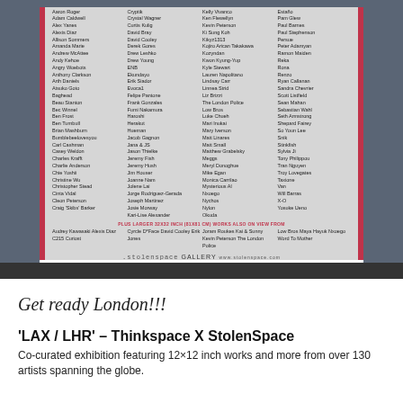[Figure (illustration): Event flyer for 'LAX / LHR' exhibition by Thinkspace and StolenSpace Gallery showing a list of 100+ artist names in 4 columns on a grey background with red side stripes, gallery logos and social media links at bottom.]
Get ready London!!!
'LAX / LHR' – Thinkspace X StolenSpace
Co-curated exhibition featuring 12×12 inch works and more from over 130 artists spanning the globe.